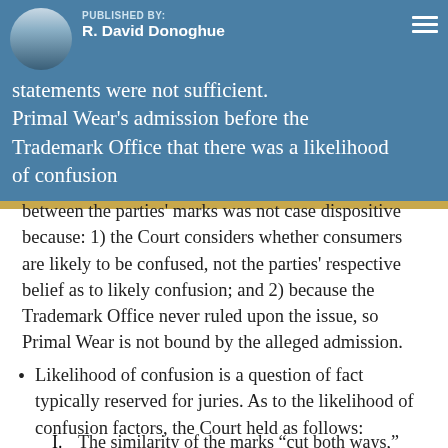statements were not sufficient.
PUBLISHED BY: R. David Donoghue
Primal Wear's admission before the Trademark Office that there was a likelihood of confusion between the parties' marks was not case dispositive because: 1) the Court considers whether consumers are likely to be confused, not the parties' respective belief as to likely confusion; and 2) because the Trademark Office never ruled upon the issue, so Primal Wear is not bound by the alleged admission.
Likelihood of confusion is a question of fact typically reserved for juries. As to the likelihood of confusion factors, the Court held as follows:
I. The similarity of the marks “cut both ways,” but overall add some weight toward likelihood of confusion.